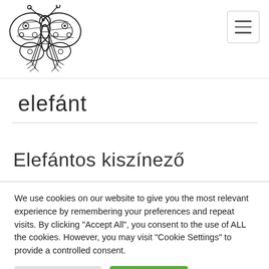[Figure (logo): Stylized butterfly/insect logo drawn in black outline on white background, decorative with geometric wing patterns]
[Figure (other): Hamburger menu icon button with three horizontal lines, inside a rounded rectangle border]
elefánt
Elefántos kiszínező
We use cookies on our website to give you the most relevant experience by remembering your preferences and repeat visits. By clicking "Accept All", you consent to the use of ALL the cookies. However, you may visit "Cookie Settings" to provide a controlled consent.
Cookie Settings
Accept All